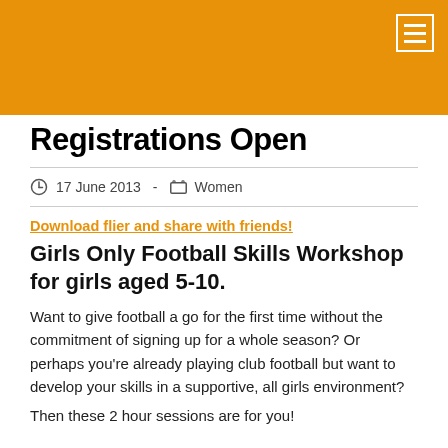Registrations Open
17 June 2013  -  Women
Download flier and share with friends!
Girls Only Football Skills Workshop for girls aged 5-10.
Want to give football a go for the first time without the commitment of signing up for a whole season? Or perhaps you’re already playing club football but want to develop your skills in a supportive, all girls environment?
Then these 2 hour sessions are for you!